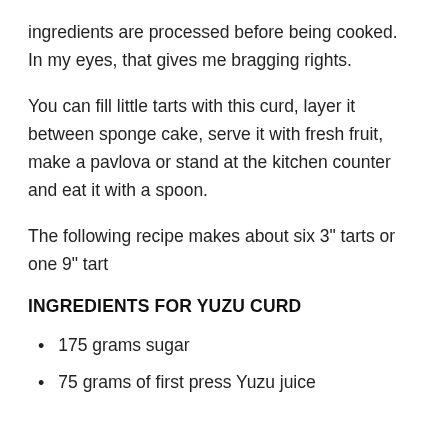ingredients are processed before being cooked. In my eyes, that gives me bragging rights.
You can fill little tarts with this curd, layer it between sponge cake, serve it with fresh fruit, make a pavlova or stand at the kitchen counter and eat it with a spoon.
The following recipe makes about six 3" tarts or one 9" tart
INGREDIENTS FOR YUZU CURD
175 grams sugar
75 grams of first press Yuzu juice